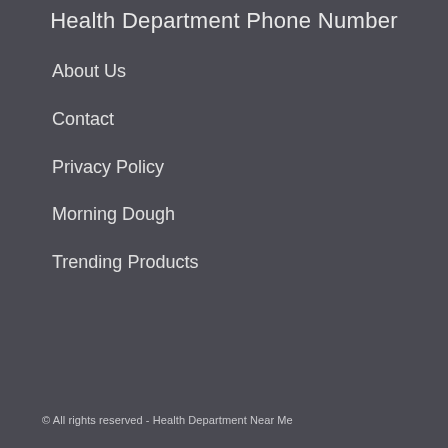Health Department Phone Number
About Us
Contact
Privacy Policy
Morning Dough
Trending Products
© All rights reserved - Health Department Near Me